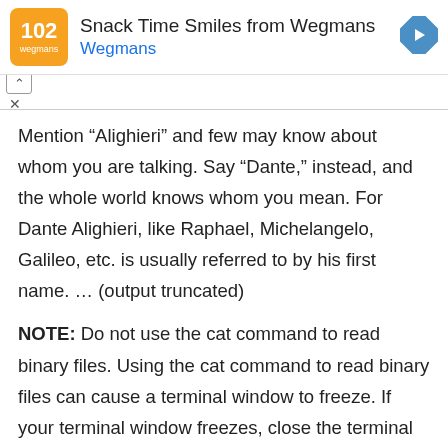[Figure (logo): Wegmans Snack Time Smiles advertisement banner with orange logo, navigation arrow icon, play/close controls]
Mention “Alighieri” and few may know about whom you are talking. Say “Dante,” instead, and the whole world knows whom you mean. For Dante Alighieri, like Raphael, Michelangelo, Galileo, etc. is usually referred to by his first name. … (output truncated)
NOTE: Do not use the cat command to read binary files. Using the cat command to read binary files can cause a terminal window to freeze. If your terminal window freezes, close the terminal window and open a new terminal window.